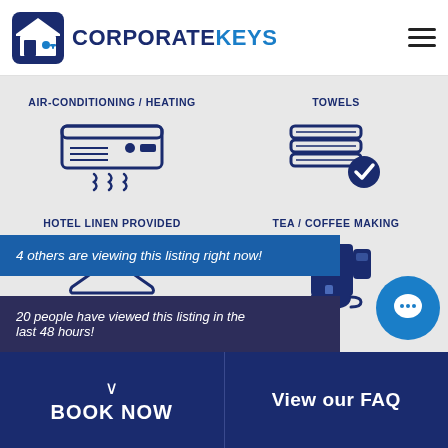CORPORATEKEYS
[Figure (infographic): Air-conditioning / Heating icon: wall-mounted AC unit with heat waves below]
[Figure (infographic): Towels icon: stacked towels with a checkmark badge]
[Figure (infographic): Hotel Linen Provided icon: clothes hanger]
[Figure (infographic): Tea / Coffee Making icon: coffee machine with cup]
4 others are viewing this listing right now!
20 people have viewed this listing in the last 48 hours!
BOOK NOW | View our FAQ